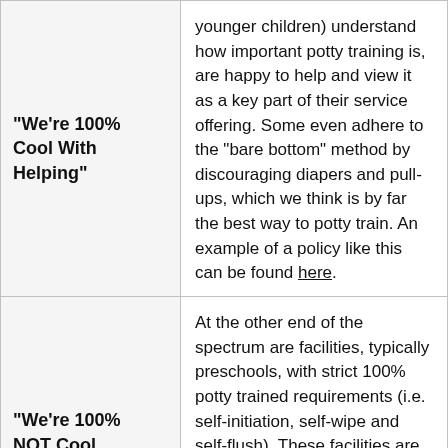| "We're 100% Cool With Helping" | younger children) understand how important potty training is, are happy to help and view it as a key part of their service offering. Some even adhere to the "bare bottom" method by discouraging diapers and pull-ups, which we think is by far the best way to potty train. An example of a policy like this can be found here. |
| "We're 100% NOT Cool With Helping" | At the other end of the spectrum are facilities, typically preschools, with strict 100% potty trained requirements (i.e. self-initiation, self-wipe and self-flush). These facilities are not set up to handle accidents and will literally expel your child if he or she has repeated accidents. An example of a policy like this can be found here. |